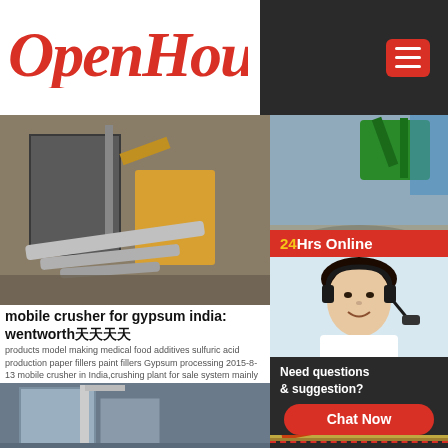[Figure (logo): OpenHouse script logo in red/crimson color]
[Figure (photo): Mobile crusher machinery at a gypsum plant in India, showing industrial equipment, pipes, and building structure]
mobile crusher for gypsum india: wentworth天天天天
products model making medical food additives sulfuric acid production paper fillers paint fillers Gypsum processing 2015-8-13 mobile crusher in India,crushing plant for sale system mainly consists five ... mobile mobile crusher ... in
[Figure (photo): PE series jaw crushing equipment - excavator loading crushed stone at quarry site]
pe series jaw crushing eq
Gypsum Crusher Gypsum Crusher site selection
[Figure (photo): 24Hrs Online support agent - woman wearing headset smiling]
24Hrs Online
Need questions & suggestion?
Chat Now
Enquiry
mumumugoods
[Figure (photo): Industrial building with dust collection equipment and mining machinery]
[Figure (photo): Crushing and screening plant with conveyor belts and industrial equipment]